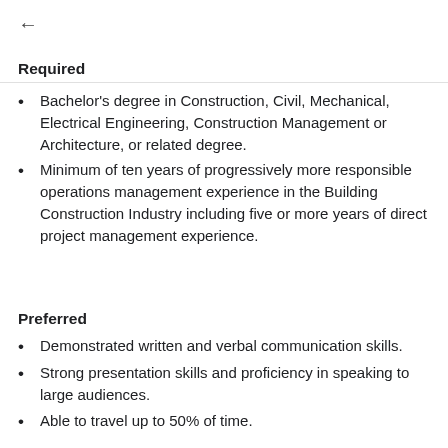Required
Bachelor's degree in Construction, Civil, Mechanical, Electrical Engineering, Construction Management or Architecture, or related degree.
Minimum of ten years of progressively more responsible operations management experience in the Building Construction Industry including five or more years of direct project management experience.
Preferred
Demonstrated written and verbal communication skills.
Strong presentation skills and proficiency in speaking to large audiences.
Able to travel up to 50% of time.